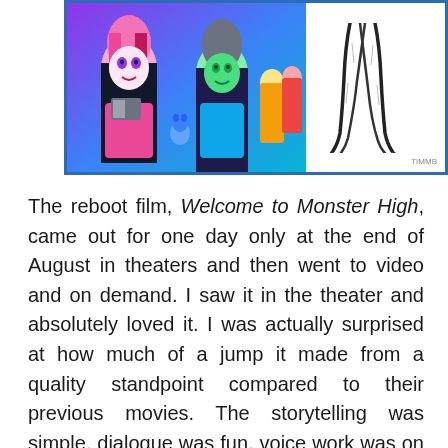[Figure (illustration): Two-panel illustration: left panel shows Monster High animated characters (pink-haired girl with book, green-skinned girl) in colorful scene; right panel shows black and white sketch of character legs/feet on white background with artist watermark.]
The reboot film, Welcome to Monster High, came out for one day only at the end of August in theaters and then went to video and on demand. I saw it in the theater and absolutely loved it. I was actually surprised at how much of a jump it made from a quality standpoint compared to their previous movies. The storytelling was simple, dialogue was fun, voice work was on point, and the CG animation looked absolutely fangtastic (I had to!) I consider this part of the Halloween season since it really hit